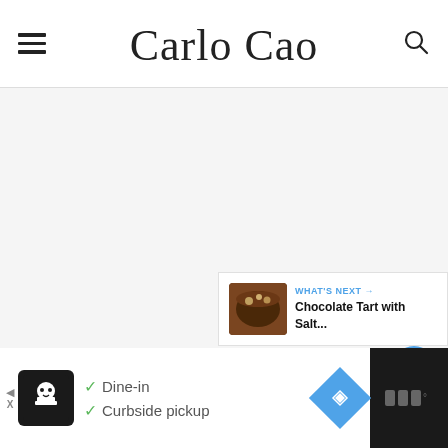Carlo Cao — website header with hamburger menu and search icon
[Figure (screenshot): Main content area — light gray background, mostly blank]
[Figure (infographic): Side floating action buttons: Wiltshire icon, blue heart button, share button]
[Figure (infographic): What's Next card with chocolate tart image thumbnail]
WHAT'S NEXT → Chocolate Tart with Salt...
[Figure (infographic): Bottom advertisement bar: Dine-in, Curbside pickup options with restaurant logo and navigation icon]